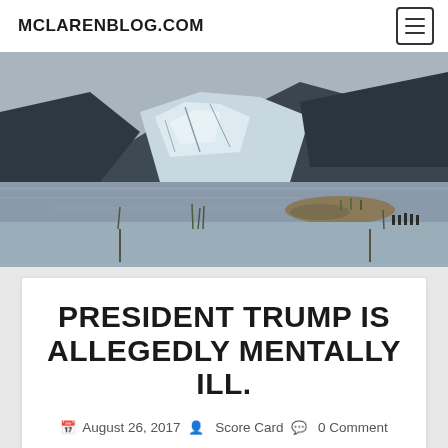MCLARENBLOG.COM
[Figure (photo): Landscape photograph of a glacier flowing between dark mountains into a grey lake, with small figures visible on the shore in the foreground right.]
PRESIDENT TRUMP IS ALLEGEDLY MENTALLY ILL.
August 26, 2017  Score Card  0 Comment